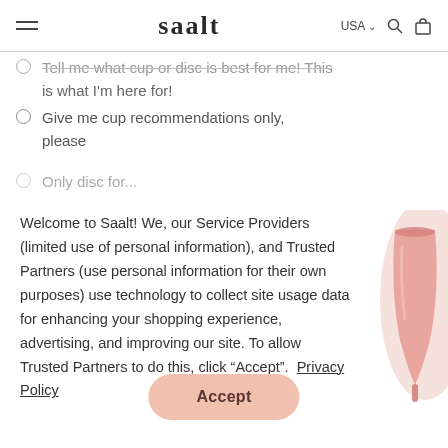saalt  USA  [search] [bag]
Tell me what cup or disc is best for me! This is what I'm here for!
Give me cup recommendations only, please
Only disc for...
Welcome to Saalt! We, our Service Providers (limited use of personal information), and Trusted Partners (use personal information for their own purposes) use technology to collect site usage data for enhancing your shopping experience, advertising, and improving our site. To allow Trusted Partners to do this, click “Accept”.  Privacy Policy
Accept